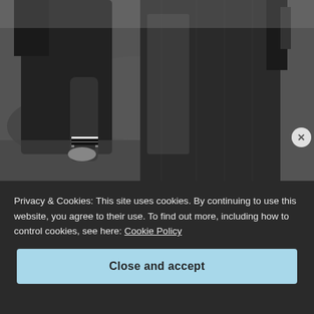[Figure (photo): Black and white photograph showing people on grass, appears to be a sports or outdoor activity scene with legs and lower bodies visible]
Privacy & Cookies: This site uses cookies. By continuing to use this website, you agree to their use. To find out more, including how to control cookies, see here: Cookie Policy
Close and accept